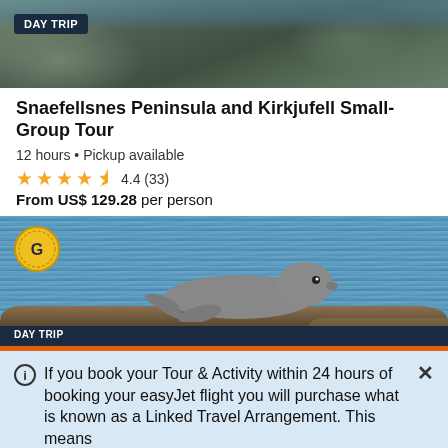[Figure (photo): Aerial/coastal view of rocky cliffs and water with overlaid DAY TRIP badge]
Snaefellsnes Peninsula and Kirkjufell Small-Group Tour
12 hours • Pickup available
★★★★½ 4.4 (33)
From US$ 129.28 per person
[Figure (photo): Photo of a seal resting on a rock by water, with G logo badge and DAY TRIP bar]
If you book your Tour & Activity within 24 hours of booking your easyJet flight you will purchase what is known as a Linked Travel Arrangement. This means
GetYourGuide uses cookies to give you the best possible service. If you continue browsing, you agree to the use of cookies. More details can be found in our privacy policy.